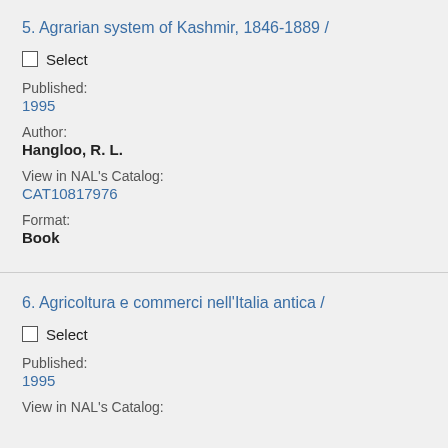5. Agrarian system of Kashmir, 1846-1889 /
Select
Published:
1995
Author:
Hangloo, R. L.
View in NAL's Catalog:
CAT10817976
Format:
Book
6. Agricoltura e commerci nell'Italia antica /
Select
Published:
1995
View in NAL's Catalog: